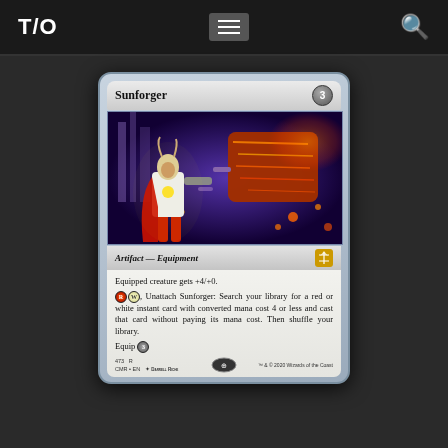T/O [menu] [search]
[Figure (illustration): Magic: The Gathering card 'Sunforger' from Commander Legends (CMR) set. Shows a warrior in white armor wielding a massive glowing hammer with lava-like cracks against a purple cosmic background. Card details: Artifact — Equipment, cost 3, Equipped creature gets +4/+0. R, W, Unattach Sunforger: Search your library for a red or white instant card with converted mana cost 4 or less and cast that card without paying its mana cost. Then shuffle your library. Equip 3. Card number 473, Rarity R, Artist Darrell Riche, CMR EN, 2020 Wizards of the Coast.]